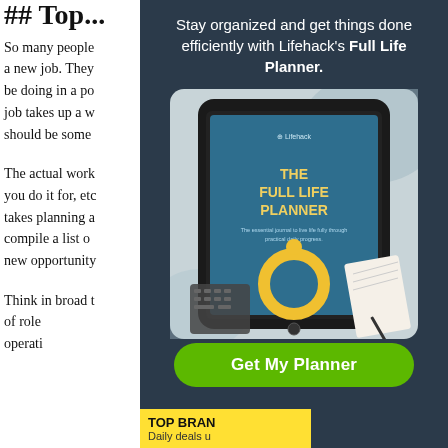Top...
So many people... a new job. They... be doing in a po... job takes up a w... should be some...
The actual work... you do it for, etc... takes planning a... compile a list o... new opportunity...
Think in broad t... of role... operati...
Stay organized and get things done efficiently with Lifehack's Full Life Planner.
[Figure (illustration): Tablet device displaying the Full Life Planner book cover with Lifehack logo, title THE FULL LIFE PLANNER, subtitle text, and a yellow circular logo icon. Background shows a marble surface with laptop keyboard and notebook.]
Get My Planner
TOP BRAND
Daily deals u...